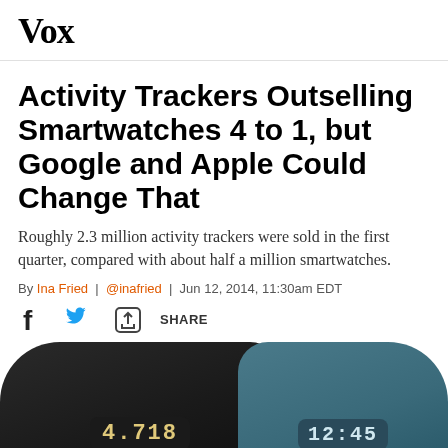Vox
Activity Trackers Outselling Smartwatches 4 to 1, but Google and Apple Could Change That
Roughly 2.3 million activity trackers were sold in the first quarter, compared with about half a million smartwatches.
By Ina Fried | @inafried | Jun 12, 2014, 11:30am EDT
[Figure (infographic): Social share bar with Facebook icon, Twitter bird icon, and share/export icon with SHARE label]
[Figure (photo): Two fitness tracker wristbands side by side — one black (showing 4,718) and one teal/blue (showing 12:45)]